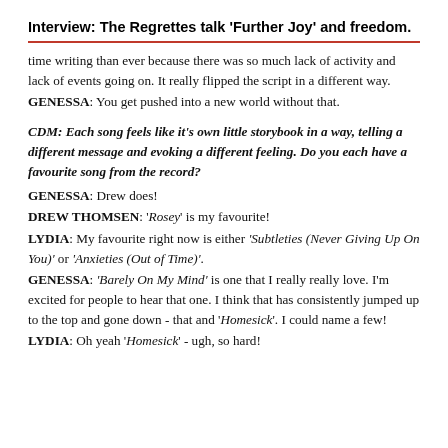Interview: The Regrettes talk 'Further Joy' and freedom.
time writing than ever because there was so much lack of activity and lack of events going on. It really flipped the script in a different way.
GENESSA: You get pushed into a new world without that.
CDM: Each song feels like it's own little storybook in a way, telling a different message and evoking a different feeling. Do you each have a favourite song from the record?
GENESSA: Drew does!
DREW THOMSEN: 'Rosey' is my favourite!
LYDIA: My favourite right now is either 'Subtleties (Never Giving Up On You)' or 'Anxieties (Out of Time)'.
GENESSA: 'Barely On My Mind' is one that I really really love. I'm excited for people to hear that one. I think that has consistently jumped up to the top and gone down - that and 'Homesick'. I could name a few!
LYDIA: Oh yeah 'Homesick' - ugh, so hard!